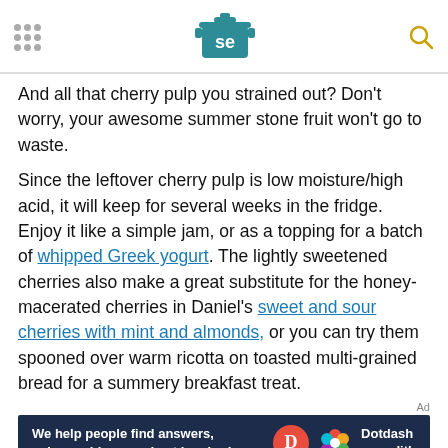Serious Eats header with logo and navigation icons
And all that cherry pulp you strained out? Don't worry, your awesome summer stone fruit won't go to waste.
Since the leftover cherry pulp is low moisture/high acid, it will keep for several weeks in the fridge. Enjoy it like a simple jam, or as a topping for a batch of whipped Greek yogurt. The lightly sweetened cherries also make a great substitute for the honey-macerated cherries in Daniel's sweet and sour cherries with mint and almonds, or you can try them spooned over warm ricotta on toasted multi-grained bread for a summery breakfast treat.
[Figure (other): Dotdash Meredith advertisement banner: 'We help people find answers, solve problems and get inspired.']